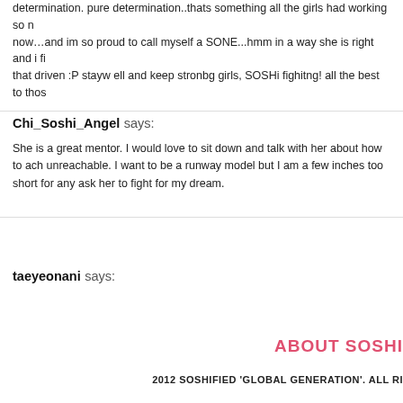determination. pure determination..thats something all the girls had working so now…and im so proud to call myself a SONE...hmm in a way she is right and i fi that driven :P stayw ell and keep stronbg girls, SOSHi fighitng! all the best to thos
Chi_Soshi_Angel says:
She is a great mentor. I would love to sit down and talk with her about how to ach unreachable. I want to be a runway model but I am a few inches too short for any ask her to fight for my dream.
taeyeonani says:
I like her curls ^^
ABOUT SOSHI
2012 SOSHIFIED 'GLOBAL GENERATION'. ALL RI